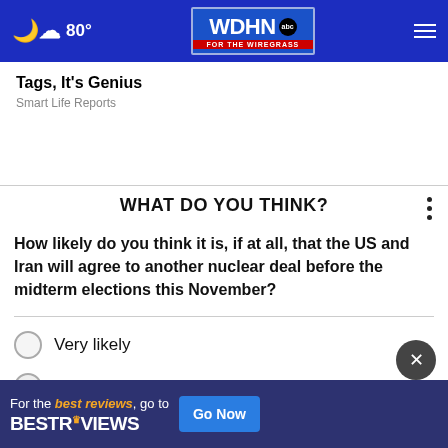80° WDHN ABC FOR THE WIREGRASS
Tags, It's Genius
Smart Life Reports
WHAT DO YOU THINK?
How likely do you think it is, if at all, that the US and Iran will agree to another nuclear deal before the midterm elections this November?
Very likely
Somewhat likely
[Figure (screenshot): BestReviews advertisement banner: 'For the best reviews, go to BESTREVIEWS' with a 'Go Now' button]